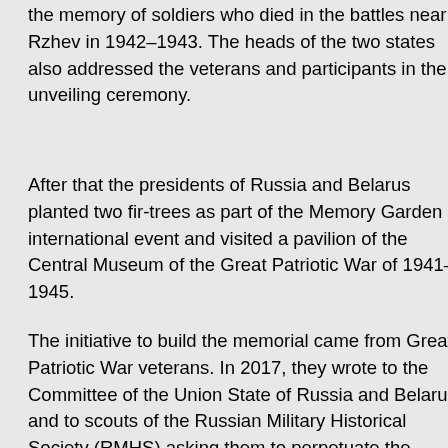the memory of soldiers who died in the battles near Rzhev in 1942–1943. The heads of the two states also addressed the veterans and participants in the unveiling ceremony.
After that the presidents of Russia and Belarus planted two fir-trees as part of the Memory Garden international event and visited a pavilion of the Central Museum of the Great Patriotic War of 1941–1945.
The initiative to build the memorial came from Great Patriotic War veterans. In 2017, they wrote to the Committee of the Union State of Russia and Belarus and to scouts of the Russian Military Historical Society (RMHS) asking them to perpetuate the memory of their wartime comrades on the occasion of the 75th anniversary of Victory.
Sculptor Andrei Korobtsov and architect Konstantin Fomin won the contract following an open international competition for best architectural and artistic design for the project. It involved a 25-